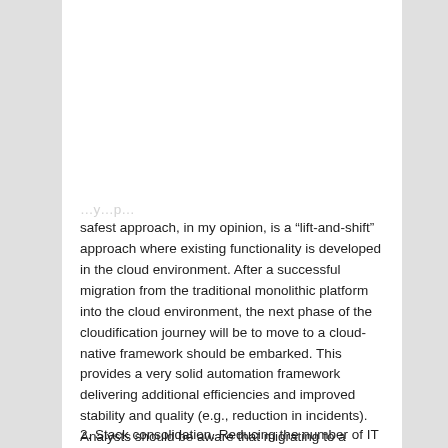safest approach, in my opinion, is a “lift-and-shift” approach where existing functionality is developed in the cloud environment. After a successful migration from the traditional monolithic platform into the cloud environment, the next phase of the cloudification journey will be to move to a cloud-native framework should be embarked. This provides a very solid automation framework delivering additional efficiencies and improved stability and quality (e.g., reduction in incidents). Analysts should be aware that migrating to a (public) cloud environment may reduce the capitalization possibilities with the consequence that Capex may reduce in the forward budget planning, but this would be at the expense of increased Opex for the IT organization.
2. Stack consolidation. Reducing the number of IT